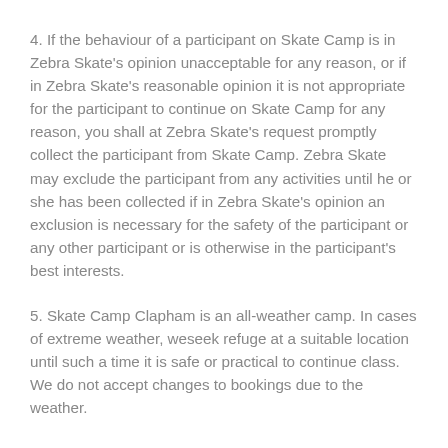4. If the behaviour of a participant on Skate Camp is in Zebra Skate's opinion unacceptable for any reason, or if in Zebra Skate's reasonable opinion it is not appropriate for the participant to continue on Skate Camp for any reason, you shall at Zebra Skate's request promptly collect the participant from Skate Camp. Zebra Skate may exclude the participant from any activities until he or she has been collected if in Zebra Skate's opinion an exclusion is necessary for the safety of the participant or any other participant or is otherwise in the participant's best interests.
5. Skate Camp Clapham is an all-weather camp. In cases of extreme weather, weseek refuge at a suitable location until such a time it is safe or practical to continue class. We do not accept changes to bookings due to the weather.